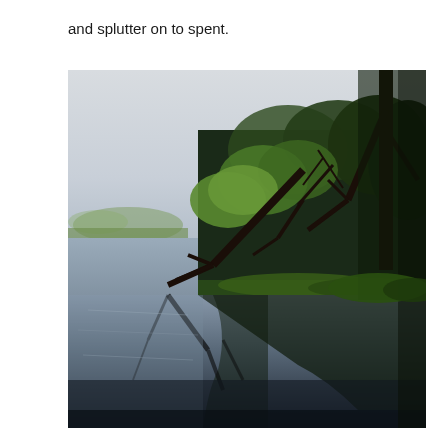and splutter on to spent.
[Figure (photo): A tranquil lakeside scene with leafless and budding trees on the right bank, their bare branches and early spring green foliage reflected in the still, dark water. The left side shows open water and a misty, pale sky in the background with distant trees and greenery.]